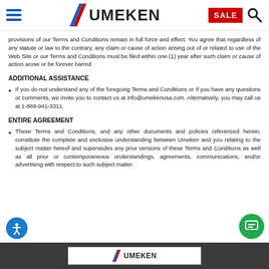UMEKEN - SALE [navigation header with hamburger menu, logo, sale badge, and search icon]
provisions of our Terms and Conditions remain in full force and effect. You agree that regardless of any statute or law to the contrary, any claim or cause of action arising out of or related to use of the Web Site or our Terms and Conditions must be filed within one (1) year after such claim or cause of action arose or be forever barred
ADDITIONAL ASSISTANCE
If you do not understand any of the foregoing Terms and Conditions or if you have any questions or comments, we invite you to contact us at info@umekenusa.com. Alternatively, you may call us at 1-888-941-3311.
ENTIRE AGREEMENT
These Terms and Conditions, and any other documents and policies referenced herein, constitute the complete and exclusive understanding between Umeken and you relating to the subject matter hereof and supersedes any prior versions of these Terms and Conditions as well as all prior or contemporaneous understandings, agreements, communications, and/or advertising with respect to such subject matter.
Umeken footer with logo